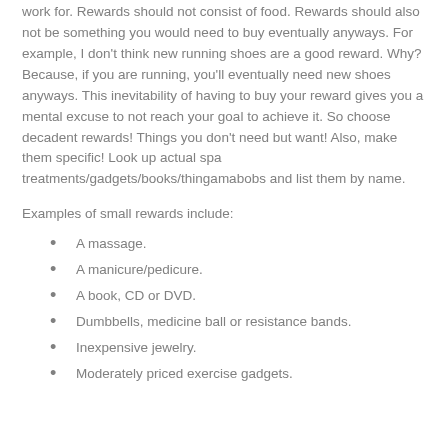work for. Rewards should not consist of food. Rewards should also not be something you would need to buy eventually anyways. For example, I don't think new running shoes are a good reward. Why? Because, if you are running, you'll eventually need new shoes anyways. This inevitability of having to buy your reward gives you a mental excuse to not reach your goal to achieve it. So choose decadent rewards! Things you don't need but want! Also, make them specific! Look up actual spa treatments/gadgets/books/thingamabobs and list them by name.
Examples of small rewards include:
A massage.
A manicure/pedicure.
A book, CD or DVD.
Dumbbells, medicine ball or resistance bands.
Inexpensive jewelry.
Moderately priced exercise gadgets.